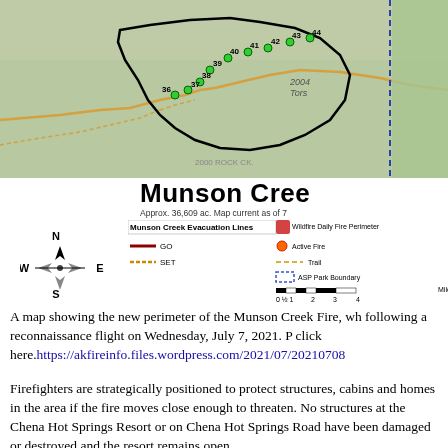[Figure (map): Topographic map showing the Munson Creek Fire perimeter area with numbered points (36-44), labeled features including '2004 Tors' and '2000 Rock CK', green highlighted trail/road points, thick black fire perimeter line, and dashed blue boundary line on right side. Forested terrain in green and gray tones.]
Munson Cree[k Fire]
Approx. 36,609 ac. Map current as of 7[...]
[Figure (other): Map legend and compass rose. Compass shows N/S/E/W directions. Legend shows 'Munson Creek Evacuation Lines' with GO (dark red line) and SET (orange dashed line). Also shows Wildfire Daily Fire Perimeter (red polygon icon), Active Fire (orange circle), Trail (yellow dashed), ASP Park Boundary (blue dashed rectangle), and a miles scale bar from 0 to 4.]
A map showing the new perimeter of the Munson Creek Fire, wh[ich was updated] following a reconnaissance flight on Wednesday, July 7, 2021. [To download] click here.https://akfireinfo.files.wordpress.com/2021/07/20210708[...]
Firefighters are strategically positioned to protect structures, cabins and homes in the area if the fire moves close enough to threaten. No structures at the Chena Hot Springs Resort or on Chena Hot Springs Road have been damaged or destroyed and the resort remains open.